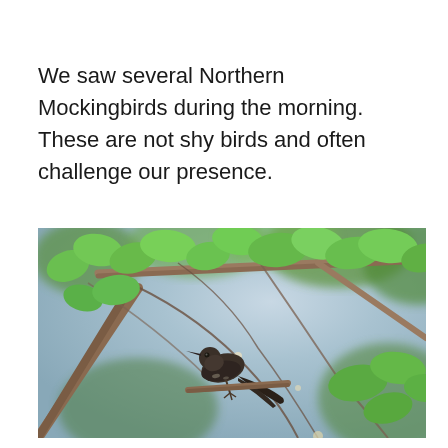We saw several Northern Mockingbirds during the morning. These are not shy birds and often challenge our presence.
[Figure (photo): A Northern Mockingbird perched among green leafy branches with a blurred blue-grey sky background. The bird is dark/brown-grey colored, sitting on a branch surrounded by bright green leaves and thin stems.]